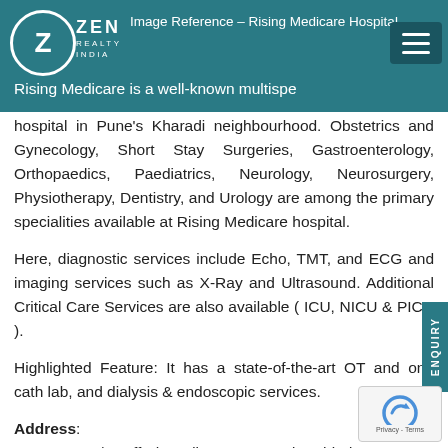Image Reference – Rising Medicare Hospital | Zen Realty India
Rising Medicare is a well-known multispeciality hospital in Pune's Kharadi neighbourhood. Obstetrics and Gynecology, Short Stay Surgeries, Gastroenterology, Orthopaedics, Paediatrics, Neurology, Neurosurgery, Physiotherapy, Dentistry, and Urology are among the primary specialities available at Rising Medicare hospital.
Here, diagnostic services include Echo, TMT, and ECG and imaging services such as X-Ray and Ultrasound. Additional Critical Care Services are also available ( ICU, NICU & PICU ).
Highlighted Feature: It has a state-of-the-art OT and one cath lab, and dialysis & endoscopic services.
Address: Survey No 4/1, Off Kharadi Bypass Road, Behind